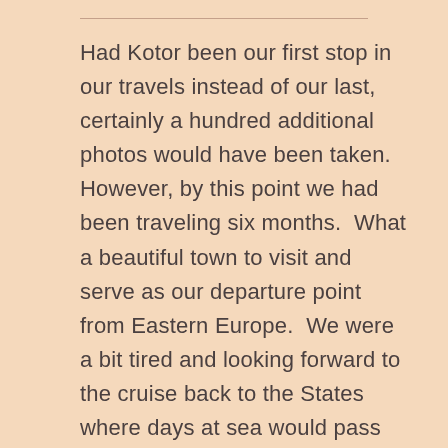Had Kotor been our first stop in our travels instead of our last, certainly a hundred additional photos would have been taken. However, by this point we had been traveling six months.  What a beautiful town to visit and serve as our departure point from Eastern Europe.  We were a bit tired and looking forward to the cruise back to the States where days at sea would pass with no decisions to be made.  I really respect and admire those retired travelers I've met through Facebook who travel endlessly.  Apparently our 'get-up-and-go has got-up-and-went'.